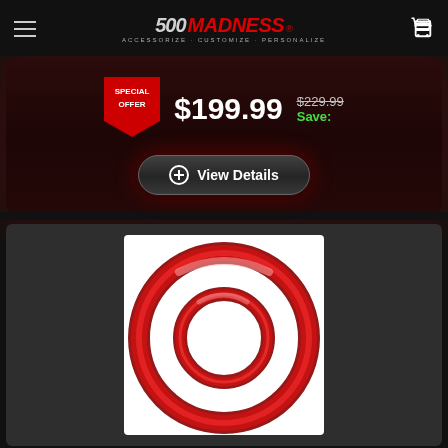500 MADNESS - ACCESSORIZE · CUSTOMIZE · PERSONALIZE
SPECIAL OFFER
$199.99
$229.99  Save:
+ View Details
[Figure (photo): Red carbon fiber looking concentric rings / trim rings product photo on white background]